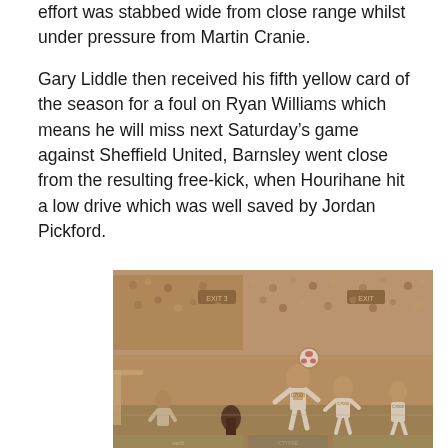effort was stabbed wide from close range whilst under pressure from Martin Cranie.
Gary Liddle then received his fifth yellow card of the season for a foul on Ryan Williams which means he will miss next Saturday’s game against Sheffield United, Barnsley went close from the resulting free-kick, when Hourihane hit a low drive which was well saved by Jordan Pickford.
[Figure (photo): Sepia-toned photograph of a football match in progress at a stadium, showing players jumping for the ball with a large crowd in the background.]